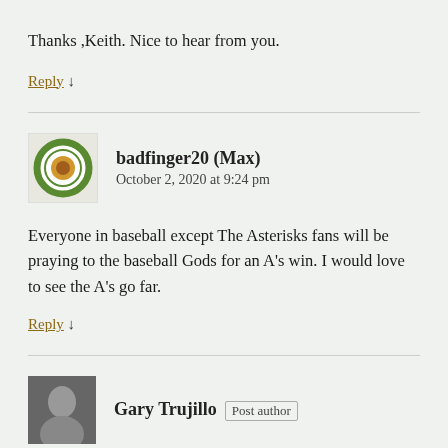Thanks ,Keith. Nice to hear from you.
Reply ↓
badfinger20 (Max)
October 2, 2020 at 9:24 pm
Everyone in baseball except The Asterisks fans will be praying to the baseball Gods for an A's win. I would love to see the A's go far.
Reply ↓
Gary Trujillo  Post author